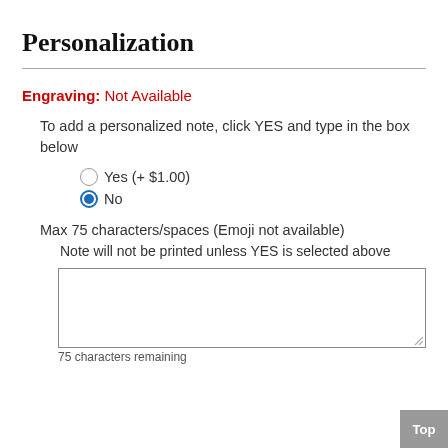Personalization
Engraving: Not Available
To add a personalized note, click YES and type in the box below
Yes (+ $1.00)
No
Max 75 characters/spaces (Emoji not available)
Note will not be printed unless YES is selected above
75 characters remaining